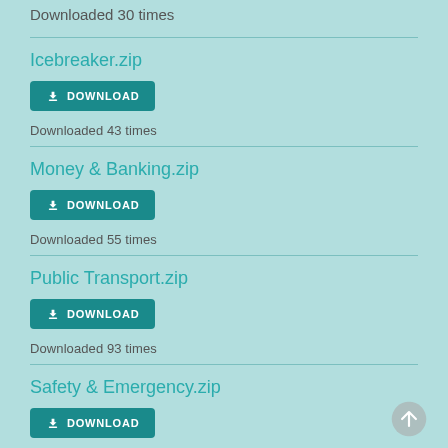Downloaded 30 times
Icebreaker.zip
DOWNLOAD
Downloaded 43 times
Money & Banking.zip
DOWNLOAD
Downloaded 55 times
Public Transport.zip
DOWNLOAD
Downloaded 93 times
Safety & Emergency.zip
DOWNLOAD
Downloaded 81 times